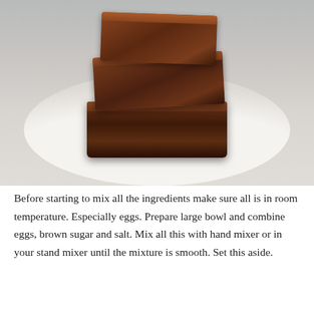[Figure (photo): Stack of three chocolate brownies piled on a white plate against a light gray background]
Before starting to mix all the ingredients make sure all is in room temperature. Especially eggs. Prepare large bowl and combine eggs, brown sugar and salt. Mix all this with hand mixer or in your stand mixer until the mixture is smooth. Set this aside.